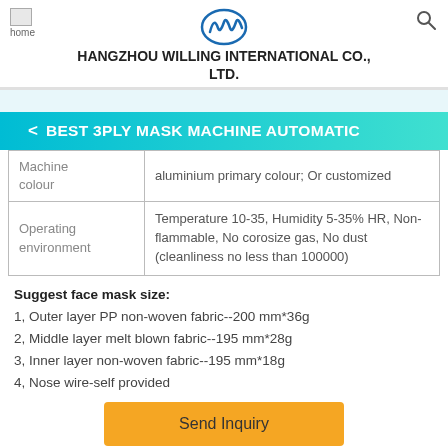HANGZHOU WILLING INTERNATIONAL CO., LTD.
BEST 3PLY MASK MACHINE AUTOMATIC
| Machine colour | aluminium primary colour; Or customized |
| Operating environment | Temperature 10-35, Humidity 5-35% HR, Non-flammable, No corosize gas, No dust (cleanliness no less than 100000) |
Suggest face mask size:
1, Outer layer PP non-woven fabric--200 mm*36g
2, Middle layer melt blown fabric--195 mm*28g
3, Inner layer non-woven fabric--195 mm*18g
4, Nose wire-self provided
Send Inquiry